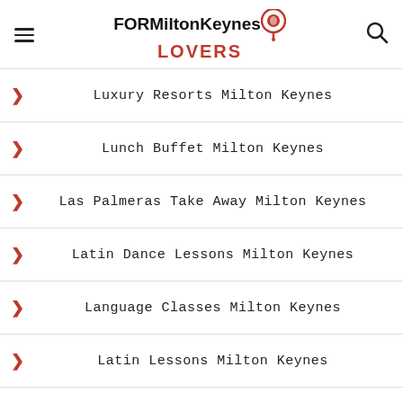FOR Milton Keynes LOVERS
Luxury Resorts Milton Keynes
Lunch Buffet Milton Keynes
Las Palmeras Take Away Milton Keynes
Latin Dance Lessons Milton Keynes
Language Classes Milton Keynes
Latin Lessons Milton Keynes
Laser Depilation Courses Milton Keynes
Language Courses Milton Keynes
Linguistic Normalization Courses Milton